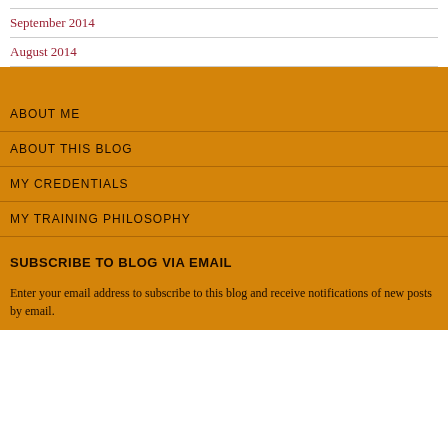September 2014
August 2014
ABOUT ME
ABOUT THIS BLOG
MY CREDENTIALS
MY TRAINING PHILOSOPHY
SUBSCRIBE TO BLOG VIA EMAIL
Enter your email address to subscribe to this blog and receive notifications of new posts by email.